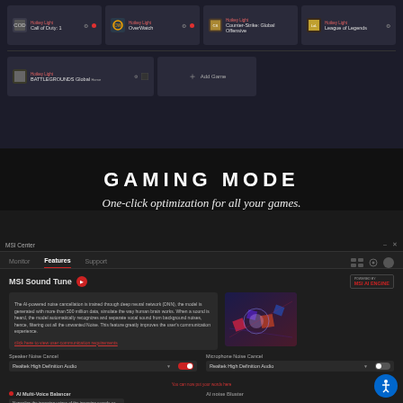[Figure (screenshot): Gaming mode interface showing multiple game cards including Call of Duty, Overwatch, Counter-Strike: Global Offensive, League of Legends, and PUBG: BATTLEGROUNDS with add game option]
GAMING MODE
One-click optimization for all your games.
[Figure (screenshot): MSI Center application showing MSI Sound Tune feature with AI noise cancellation description, speaker noise cancel and microphone noise cancel settings, AI Multi-Voice Balancer feature, and laptop illustrations]